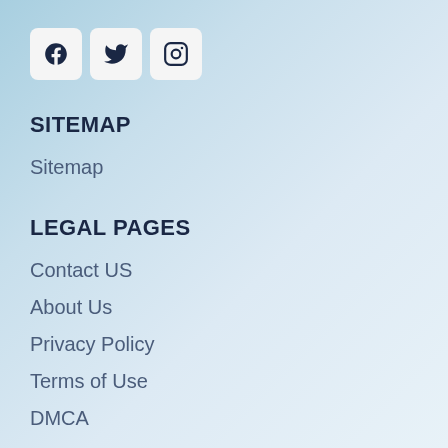[Figure (illustration): Three social media icon buttons in white rounded squares: Facebook, Twitter, Instagram]
SITEMAP
Sitemap
LEGAL PAGES
Contact US
About Us
Privacy Policy
Terms of Use
DMCA